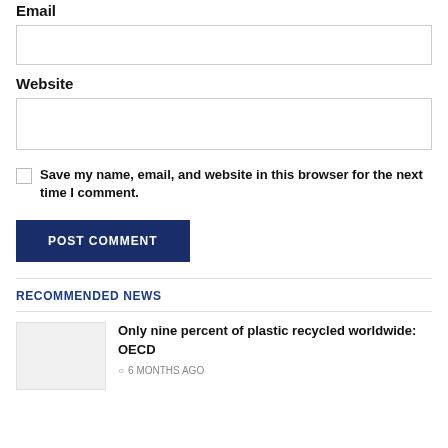Email
[Email input field]
Website
[Website input field]
Save my name, email, and website in this browser for the next time I comment.
POST COMMENT
RECOMMENDED NEWS
Only nine percent of plastic recycled worldwide: OECD
6 MONTHS AGO